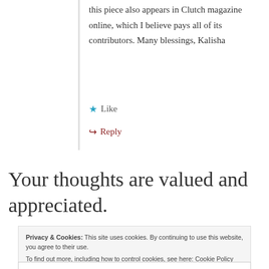this piece also appears in Clutch magazine online, which I believe pays all of its contributors. Many blessings, Kalisha
Like
Reply
Your thoughts are valued and appreciated.
Privacy & Cookies: This site uses cookies. By continuing to use this website, you agree to their use.
To find out more, including how to control cookies, see here: Cookie Policy
Close and accept